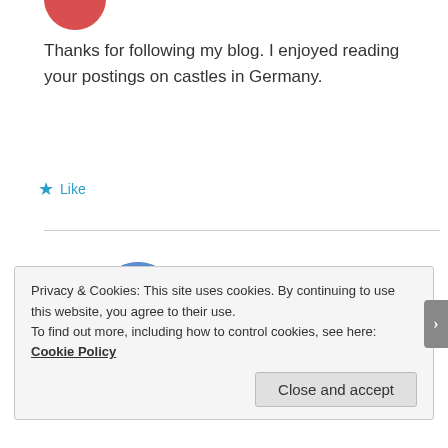[Figure (photo): Partial red circular avatar at top]
Thanks for following my blog. I enjoyed reading your postings on castles in Germany.
★ Like
[Figure (photo): Circular avatar of Victor Tribunsky — man in white captain hat and red shirt, blue sky background]
Victor Tribunsky
January 28, 2013 at 3:06 am  Reply
Thank you. Your posts Castles on the Rhine are
Privacy & Cookies: This site uses cookies. By continuing to use this website, you agree to their use.
To find out more, including how to control cookies, see here: Cookie Policy
Close and accept